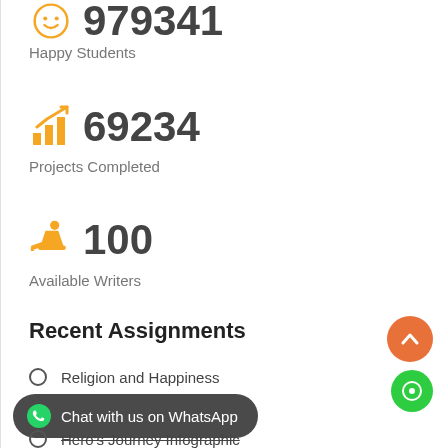979341
Happy Students
69234
Projects Completed
100
Available Writers
Recent Assignments
Religion and Happiness
Characteristics of a Hero
Hero's Journey Infographic